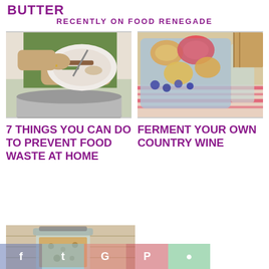BUTTER
RECENTLY ON FOOD RENEGADE
[Figure (photo): Person scraping food scraps off a plate into a large pot]
[Figure (photo): Glass pitcher filled with fruit-infused water or country wine with fruits and herbs]
7 THINGS YOU CAN DO TO PREVENT FOOD WASTE AT HOME
FERMENT YOUR OWN COUNTRY WINE
[Figure (photo): Partial image of a jar with granola or similar food product]
f  t  G  P  (whatsapp icon)